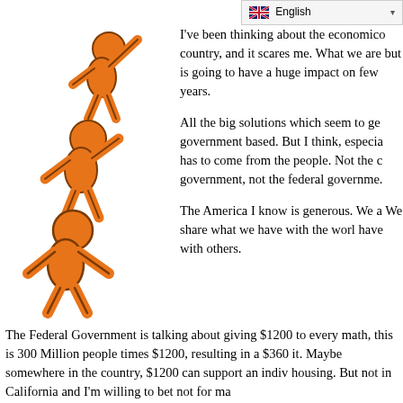English
[Figure (illustration): Three orange cartoon figures stacked vertically, each helping lift the one below, in a chain of support.]
I've been thinking about the economics of this country, and it scares me. What we are doing but is going to have a huge impact on the next few years.
All the big solutions which seem to get attention are government based. But I think, especially now, change has to come from the people. Not the city government, not the federal government.
The America I know is generous. We are caring. We share what we have with the world and share what we have with others.
The Federal Government is talking about giving $1200 to every... math, this is 300 Million people times $1200, resulting in a $360... it. Maybe somewhere in the country, $1200 can support an indiv... housing.  But not in California and I'm willing to bet not for ma...